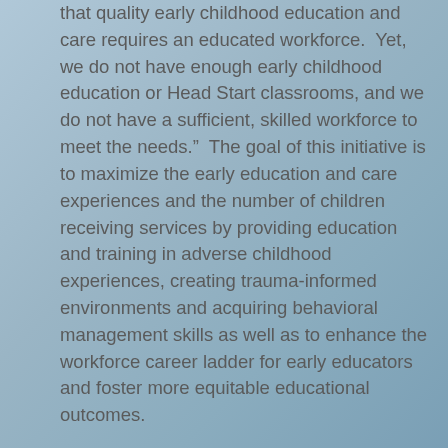that quality early childhood education and care requires an educated workforce.  Yet, we do not have enough early childhood education or Head Start classrooms, and we do not have a sufficient, skilled workforce to meet the needs."  The goal of this initiative is to maximize the early education and care experiences and the number of children receiving services by providing education and training in adverse childhood experiences, creating trauma-informed environments and acquiring behavioral management skills as well as to enhance the workforce career ladder for early educators and foster more equitable educational outcomes.
Assisted by evaluators from the Institute for Community Health, MASSCAP will use a research-based approach, working closely with Mount Wachusett Community College and Quinsigamond Community College to develop courses/curriculum to